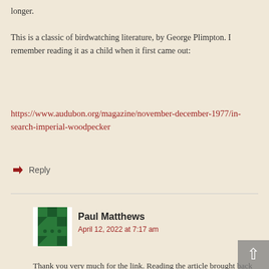longer.
This is a classic of birdwatching literature, by George Plimpton. I remember reading it as a child when it first came out:
https://www.audubon.org/magazine/november-december-1977/in-search-imperial-woodpecker
Reply
Paul Matthews
April 12, 2022 at 7:17 am
Thank you very much for the link. Reading the article brought back memories. When I was young we had a book that was kind of a compendium of different articles on birds and birding. By far my favourite in the book was George Plimpton's account of his participation in a Texas